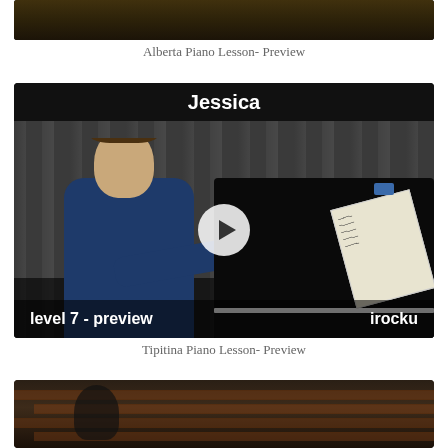[Figure (screenshot): Partial view of a video thumbnail for Alberta Piano Lesson preview, dark background with warm tones]
Alberta Piano Lesson- Preview
[Figure (screenshot): Video thumbnail showing a pianist playing a grand piano with sheet music, dark curtain background. Title 'Jessica' at top, 'level 7 - preview' at bottom left, 'irocku' at bottom right, white play button in center]
Tipitina Piano Lesson- Preview
[Figure (screenshot): Partial view of a video thumbnail showing a brick wall background, bottom portion visible]